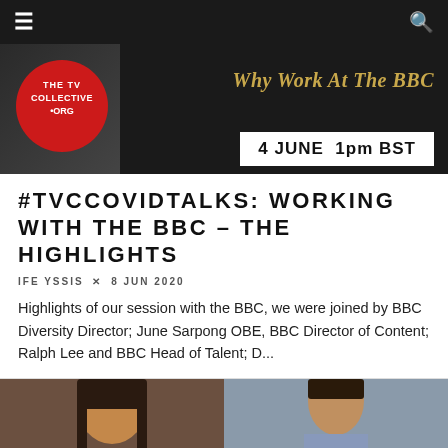≡ [hamburger menu] | [search icon]
[Figure (screenshot): Hero banner image: dark background with The TV Collective .org red circle logo on left, italic gold text 'Why Work At The BBC' on right, white box at bottom right showing '4 JUNE  1pm BST']
#TVCCOVIDTALKS: WORKING WITH THE BBC – THE HIGHLIGHTS
IFE YSSIS × 8 JUN 2020
Highlights of our session with the BBC, we were joined by BBC Diversity Director; June Sarpong OBE, BBC Director of Content; Ralph Lee and BBC Head of Talent; D...
INITIATIVES
SPOTLIGHT
♡ 1
[Figure (photo): Two portrait photos side by side: left shows a woman with dark hair, right shows a man]